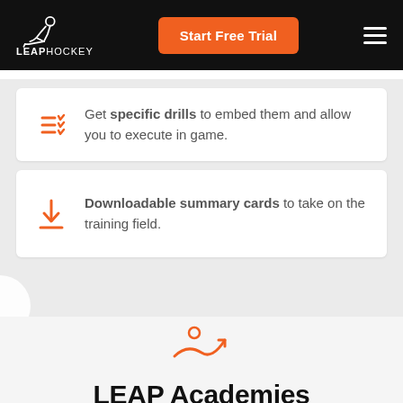[Figure (logo): LEAP Hockey logo with white hockey player silhouette on black background, with 'LEAPHOCKEY' text]
Get specific drills to embed them and allow you to execute in game.
Downloadable summary cards to take on the training field.
[Figure (logo): LEAP Academies orange icon with person and checkmark]
LEAP Academies